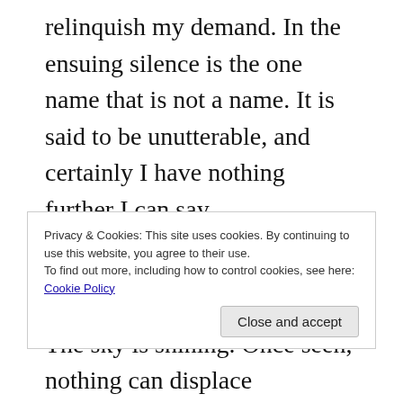relinquish my demand. In the ensuing silence is the one name that is not a name. It is said to be unutterable, and certainly I have nothing further I can say.
'We’re all just walking each other home.' The night is calm. Virtually no traffic, and the cry of the little owl from the rocks on the hillside is loud in the still air. This journey is complete, and it will continue…
Moonrise, and there the horse is standing in its breath. The grass glistens with the frost-to-come
Privacy & Cookies: This site uses cookies. By continuing to use this website, you agree to their use.
To find out more, including how to control cookies, see here: Cookie Policy
Close and accept
The sky is shining. Once seen, nothing can displace